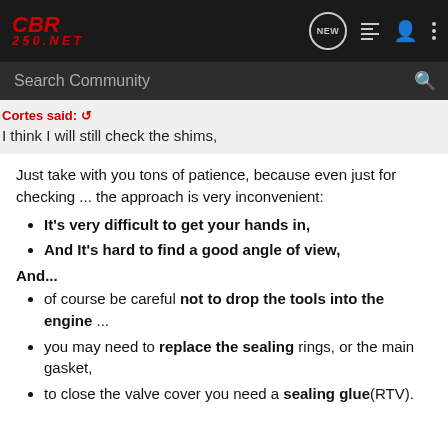[Figure (logo): CBR250.NET logo in red italic bold text on dark background navbar with navigation icons (NEW chat bubble, list, user, dots)]
Search Community
Cortes said: ↗
I think I will still check the shims,
Just take with you tons of patience, because even just for checking ... the approach is very inconvenient:
It's very difficult to get your hands in,
And It's hard to find a good angle of view,
And...
of course be careful not to drop the tools into the engine ...
you may need to replace the sealing rings, or the main gasket,
to close the valve cover you need a sealing glue(RTV).